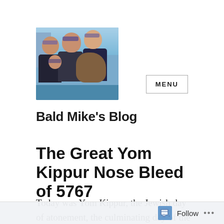[Figure (photo): Family selfie photo showing a bald man, two women, a young girl, and a dog, outdoors near water with buildings in background. Everyone wearing sunglasses.]
Bald Mike's Blog
The Great Yom Kippur Nose Bleed of 5767
Today was Yom Kippur, the Jewish day of atonement, the culminating day of the Jewish
Follow ...